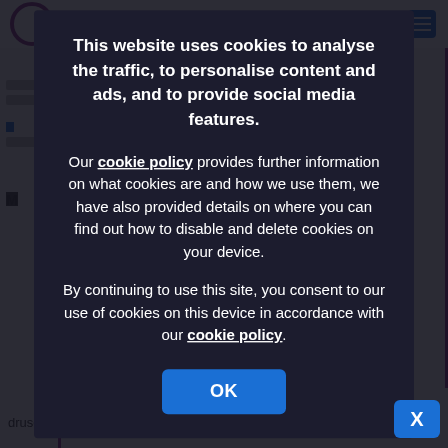[Figure (screenshot): Cookie consent modal overlay on a website. Dark semi-transparent overlay covers the background page content. Modal contains cookie policy notice text, a link to 'cookie policy', a consent statement, and an OK button. A blue X close button appears in the bottom-right corner.]
This website uses cookies to analyse the traffic, to personalise content and ads, and to provide social media features.
Our cookie policy provides further information on what cookies are and how we use them, we have also provided details on where you can find out how to disable and delete cookies on your device.
By continuing to use this site, you consent to our use of cookies on this device in accordance with our cookie policy.